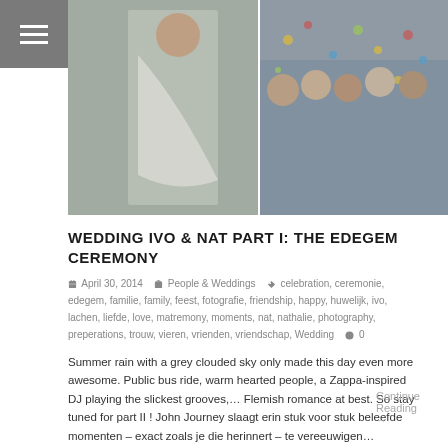[Figure (photo): Wedding photo collage: bride bending down on left panel, crowd of guests celebrating with confetti in right two panels]
WEDDING IVO & NAT PART I: THE EDEGEM CEREMONY
April 30, 2014   People & Weddings   celebration, ceremonie, edegem, familie, family, feest, fotografie, friendship, happy, huwelijk, ivo, lachen, liefde, love, matremony, moments, nat, nathalie, photography, preperations, trouw, vieren, vrienden, vriendschap, Wedding   0
Summer rain with a grey clouded sky only made this day even more awesome. Public bus ride, warm hearted people, a Zappa-inspired DJ playing the slickest grooves,… Flemish romance at best. So stay tuned for part II ! John Journey slaagt erin stuk voor stuk beleefde momenten – exact zoals je die herinnert – te vereeuwigen…
Continue Reading →